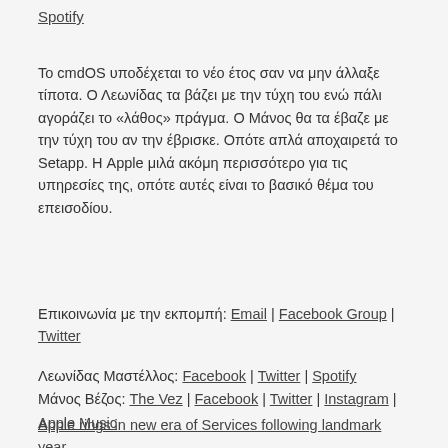Spotify
Το cmdOS υποδέχεται το νέο έτος σαν να μην άλλαξε τίποτα. Ο Λεωνίδας τα βάζει με την τύχη του ενώ πάλι αγοράζει το «λάθος» πράγμα. Ο Μάνος θα τα έβαζε με την τύχη του αν την έβρισκε. Οπότε απλά αποχαιρετά το Setapp. Η Apple μιλά ακόμη περισσότερο για τις υπηρεσίες της, οπότε αυτές είναι το βασικό θέμα του επεισοδίου.
Επικοινωνία με την εκπομπή: Email | Facebook Group | Twitter
Λεωνίδας Μαστέλλος: Facebook | Twitter | Spotify Μάνος Βέζος: The Vez | Facebook | Twitter | Instagram | Apple Music
Apple rings in new era of Services following landmark year